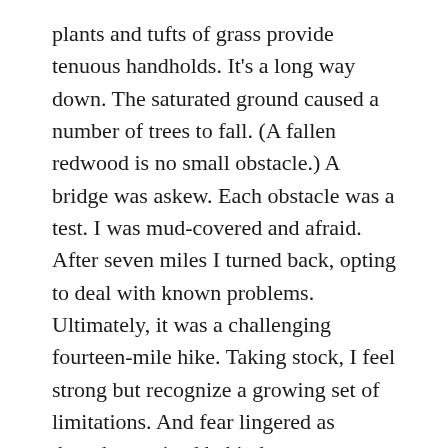plants and tufts of grass provide tenuous handholds. It's a long way down. The saturated ground caused a number of trees to fall. (A fallen redwood is no small obstacle.) A bridge was askew. Each obstacle was a test. I was mud-covered and afraid. After seven miles I turned back, opting to deal with known problems. Ultimately, it was a challenging fourteen-mile hike. Taking stock, I feel strong but recognize a growing set of limitations. And fear lingered as though atomized behind my eyes.
For the first time, it is clear that the runway no longer reaches a far horizon. A simple walk might be a blessing in a year.  A transition plan is needed. This plan could be a collection of